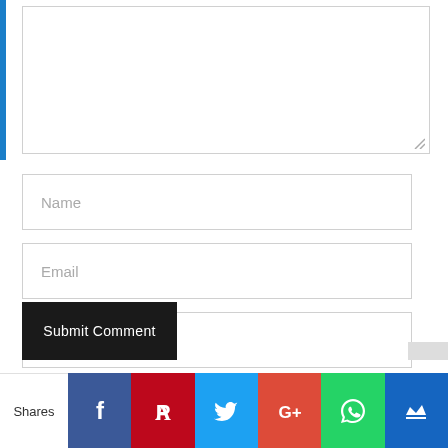[Figure (screenshot): Textarea input box (comment field, partially visible at top)]
Name
Email
Website
Save my name, email, and website in this browser for the next time I comment.
Submit Comment
Shares
[Figure (infographic): Social sharing bar with icons: Facebook, Pinterest, Twitter, Google+, WhatsApp, Crown/Monarchy]